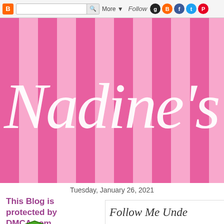Blogger navigation bar with search, More, Follow, and social icons (Goodreads, Blogger, Facebook, Twitter, Pinterest)
[Figure (illustration): Pink vertical striped background banner with large white cursive/script text reading 'Nadine's Ob' (partially cropped)]
Nadine's Ob...
Tuesday, January 26, 2021
This Blog is protected by DMCA.com
[Figure (logo): DMCA PROTECTED shield badge logo in green]
Follow Me Unde...